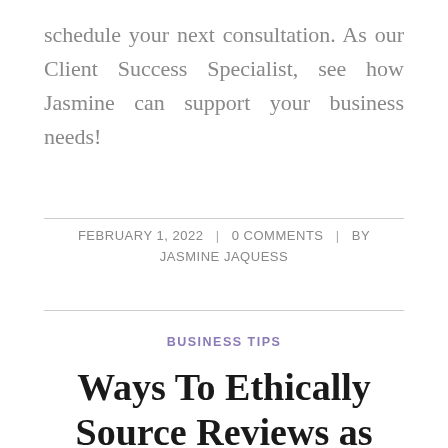schedule your next consultation. As our Client Success Specialist, see how Jasmine can support your business needs!
FEBRUARY 1, 2022 | 0 COMMENTS | BY JASMINE JAQUESS
BUSINESS TIPS
Ways To Ethically Source Reviews as